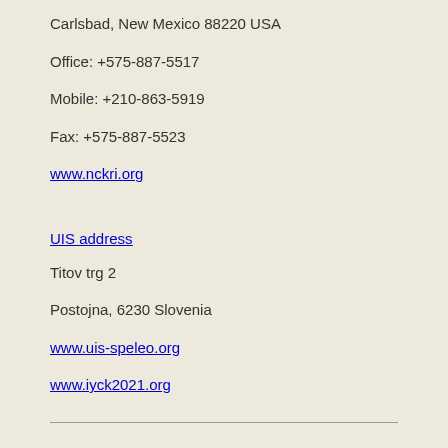Carlsbad, New Mexico 88220 USA
Office: +575-887-5517
Mobile: +210-863-5919
Fax: +575-887-5523
www.nckri.org
UIS address
Titov trg 2
Postojna, 6230 Slovenia
www.uis-speleo.org
www.iyck2021.org